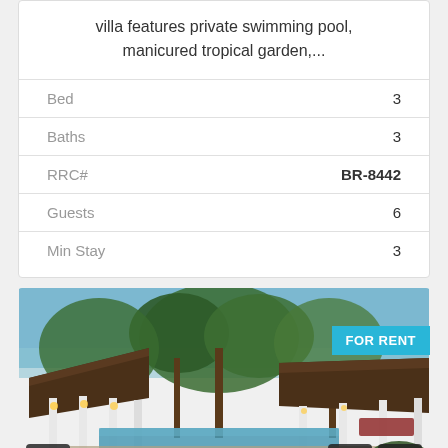villa features private swimming pool, manicured tropical garden,...
|  |  |
| --- | --- |
| Bed | 3 |
| Baths | 3 |
| RRC# | BR-8442 |
| Guests | 6 |
| Min Stay | 3 |
[Figure (photo): Balinese villa with thatched roof pavilions, tropical garden, swimming pool, and warm evening lighting. A 'FOR RENT' badge appears in the top right corner.]